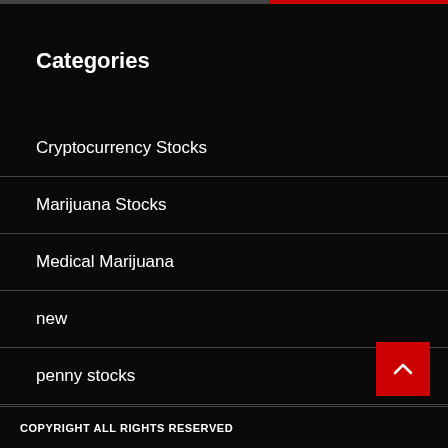Categories
Cryptocurrency Stocks
Marijuana Stocks
Medical Marijuana
new
penny stocks
COPYRIGHT ALL RIGHTS RESERVED